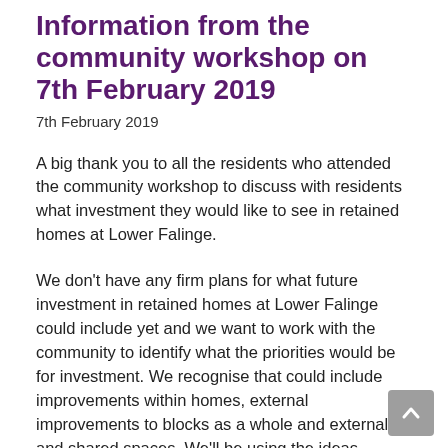Information from the community workshop on 7th February 2019
7th February 2019
A big thank you to all the residents who attended the community workshop to discuss with residents what investment they would like to see in retained homes at Lower Falinge.
We don't have any firm plans for what future investment in retained homes at Lower Falinge could include yet and we want to work with the community to identify what the priorities would be for investment. We recognise that could include improvements within homes, external improvements to blocks as a whole and external and shared spaces. We'll be using the ideas provided by residents at the workshop, together